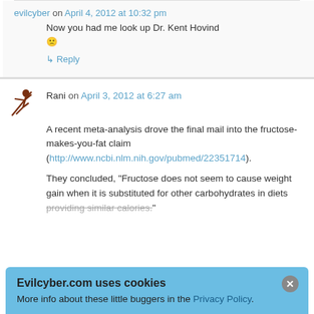evilcyber on April 4, 2012 at 10:32 pm
Now you had me look up Dr. Kent Hovind 🙁
↳ Reply
Rani on April 3, 2012 at 6:27 am
A recent meta-analysis drove the final mail into the fructose-makes-you-fat claim (http://www.ncbi.nlm.nih.gov/pubmed/22351714).
They concluded, "Fructose does not seem to cause weight gain when it is substituted for other carbohydrates in diets providing similar calories."
Evilcyber.com uses cookies
More info about these little buggers in the Privacy Policy.